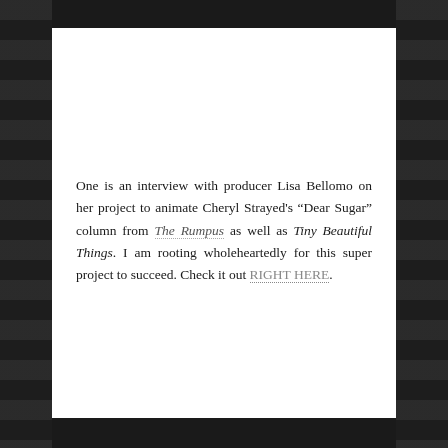One is an interview with producer Lisa Bellomo on her project to animate Cheryl Strayed's “Dear Sugar” column from The Rumpus as well as Tiny Beautiful Things. I am rooting wholeheartedly for this super project to succeed. Check it out RIGHT HERE.